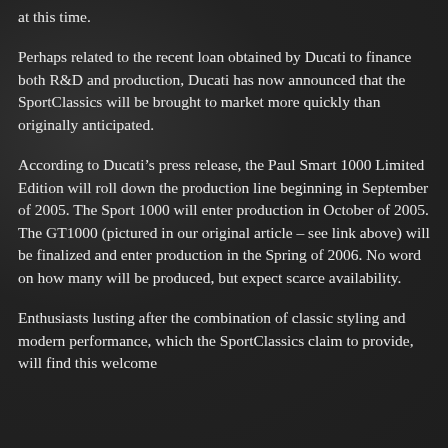at this time.
Perhaps related to the recent loan obtained by Ducati to finance both R&D and production, Ducati has now announced that the SportClassics will be brought to market more quickly than originally anticipated.
According to Ducati’s press release, the Paul Smart 1000 Limited Edition will roll down the production line beginning in September of 2005. The Sport 1000 will enter production in October of 2005. The GT1000 (pictured in our original article – see link above) will be finalized and enter production in the Spring of 2006. No word on how many will be produced, but expect scarce availability.
Enthusiasts lusting after the combination of classic styling and modern performance, which the SportClassics claim to provide, will find this welcome